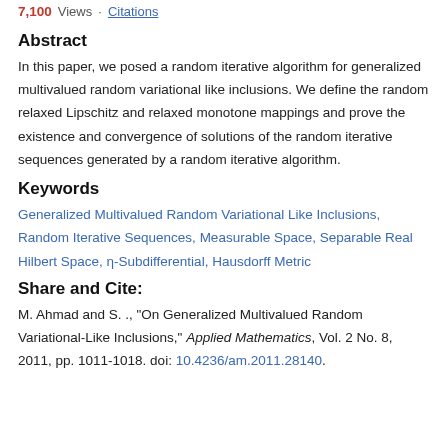7,100 Views  Citations
Abstract
In this paper, we posed a random iterative algorithm for generalized multivalued random variational like inclusions. We define the random relaxed Lipschitz and relaxed monotone mappings and prove the existence and convergence of solutions of the random iterative sequences generated by a random iterative algorithm.
Keywords
Generalized Multivalued Random Variational Like Inclusions, Random Iterative Sequences, Measurable Space, Separable Real Hilbert Space, η-Subdifferential, Hausdorff Metric
Share and Cite:
M. Ahmad and S. ., "On Generalized Multivalued Random Variational-Like Inclusions," Applied Mathematics, Vol. 2 No. 8, 2011, pp. 1011-1018. doi: 10.4236/am.2011.28140.